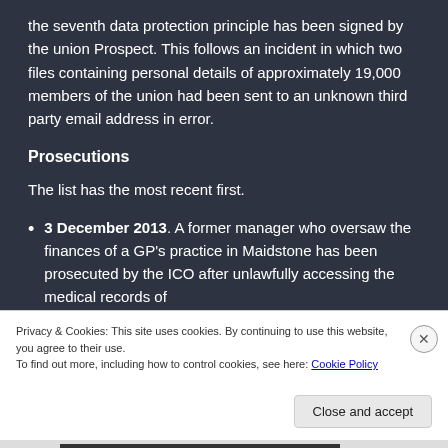the seventh data protection principle has been signed by the union Prospect. This follows an incident in which two files containing personal details of approximately 19,000 members of the union had been sent to an unknown third party email address in error.
Prosecutions
The list has the most recent first.
3 December 2013. A former manager who oversaw the finances of a GP's practice in Maidstone has been prosecuted by the ICO after unlawfully accessing the medical records of
Privacy & Cookies: This site uses cookies. By continuing to use this website, you agree to their use.
To find out more, including how to control cookies, see here: Cookie Policy